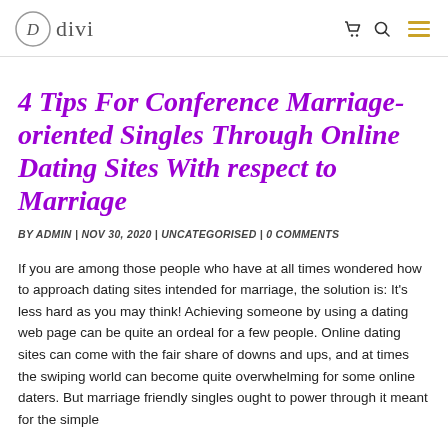divi
4 Tips For Conference Marriage-oriented Singles Through Online Dating Sites With respect to Marriage
BY ADMIN | NOV 30, 2020 | UNCATEGORISED | 0 COMMENTS
If you are among those people who have at all times wondered how to approach dating sites intended for marriage, the solution is: It's less hard as you may think! Achieving someone by using a dating web page can be quite an ordeal for a few people. Online dating sites can come with the fair share of downs and ups, and at times the swiping world can become quite overwhelming for some online daters. But marriage friendly singles ought to power through it meant for the simple